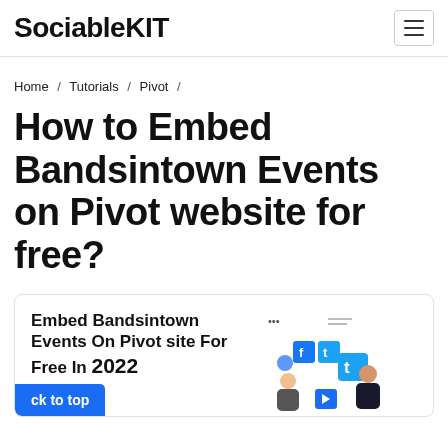SociableKIT
Home / Tutorials / Pivot /
How to Embed Bandsintown Events on Pivot website for free?
[Figure (screenshot): Card preview showing 'Embed Bandsintown Events On Pivot site For Free In 2022' with a social media illustration on the right and a 'Back to top' button on the bottom left]
ck to top